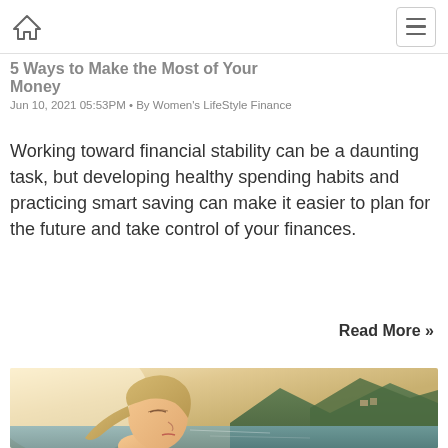Home icon | Menu icon
5 Ways to Make the Most of Your Money
Jun 10, 2021 05:53PM • By Women's LifeStyle Finance
Working toward financial stability can be a daunting task, but developing healthy spending habits and practicing smart saving can make it easier to plan for the future and take control of your finances.
Read More »
[Figure (photo): Young woman with eyes closed, facing upward, with mountains and lake in background]